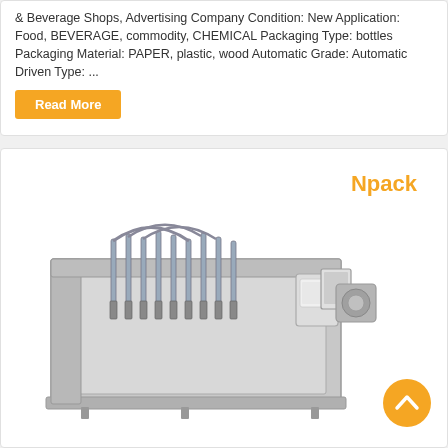& Beverage Shops, Advertising Company Condition: New Application: Food, BEVERAGE, commodity, CHEMICAL Packaging Type: bottles Packaging Material: PAPER, plastic, wood Automatic Grade: Automatic Driven Type: ...
Read More
Npack
[Figure (photo): Industrial automatic liquid filling machine with multiple filling heads, stainless steel construction, control panel on the right side]